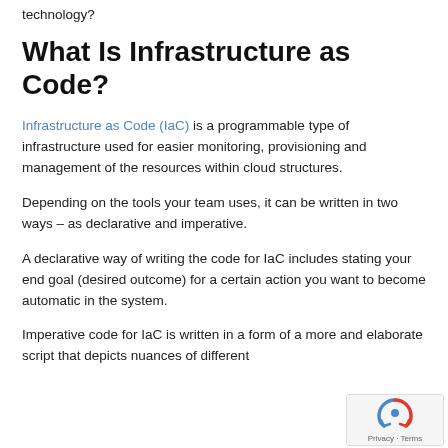technology?
What Is Infrastructure as Code?
Infrastructure as Code (IaC) is a programmable type of infrastructure used for easier monitoring, provisioning and management of the resources within cloud structures.
Depending on the tools your team uses, it can be written in two ways – as declarative and imperative.
A declarative way of writing the code for IaC includes stating your end goal (desired outcome) for a certain action you want to become automatic in the system.
Imperative code for IaC is written in a form of a more and elaborate script that depicts nuances of different